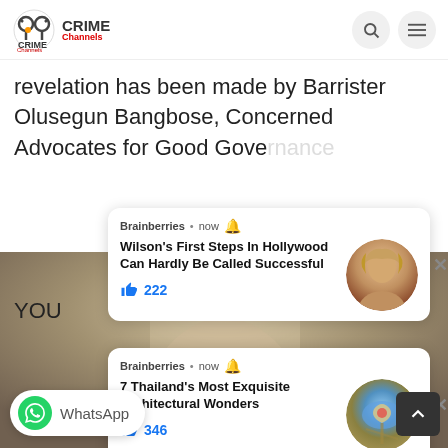[Figure (screenshot): Crime Channels website header with logo, search and menu icons]
revelation has been made by Barrister Olusegun Bangbose, Concerned Advocates for Good Gove[rnance] ... [regards running] ... [control of] the [...]
[Figure (infographic): Brainberries notification card 1: Wilson's First Steps In Hollywood Can Hardly Be Called Successful, 222 likes, with portrait photo]
[Figure (infographic): Brainberries notification card 2: 7 Thailand's Most Exquisite Architectural Wonders, 346 likes, with aerial photo]
[Figure (photo): Background photo showing a woman in white lace outfit]
WhatsApp